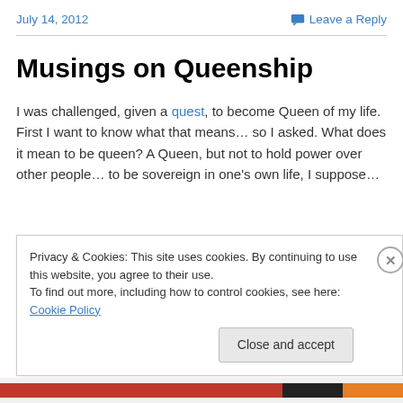July 14, 2012    Leave a Reply
Musings on Queenship
I was challenged, given a quest, to become Queen of my life. First I want to know what that means… so I asked. What does it mean to be queen? A Queen, but not to hold power over other people… to be sovereign in one's own life, I suppose…
Privacy & Cookies: This site uses cookies. By continuing to use this website, you agree to their use.
To find out more, including how to control cookies, see here: Cookie Policy
Close and accept